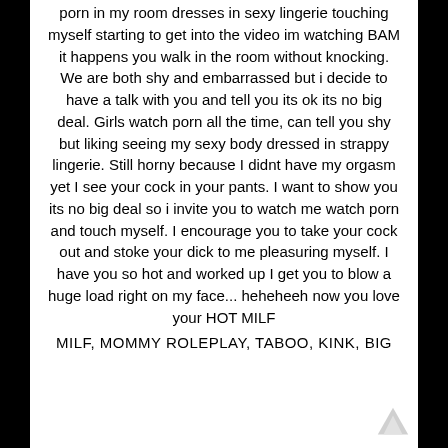porn in my room dresses in sexy lingerie touching myself starting to get into the video im watching BAM it happens you walk in the room without knocking. We are both shy and embarrassed but i decide to have a talk with you and tell you its ok its no big deal. Girls watch porn all the time, can tell you shy but liking seeing my sexy body dressed in strappy lingerie. Still horny because I didnt have my orgasm yet I see your cock in your pants. I want to show you its no big deal so i invite you to watch me watch porn and touch myself. I encourage you to take your cock out and stoke your dick to me pleasuring myself. I have you so hot and worked up I get you to blow a huge load right on my face... heheheeh now you love your HOT MILF
MILF, MOMMY ROLEPLAY, TABOO, KINK, BIG